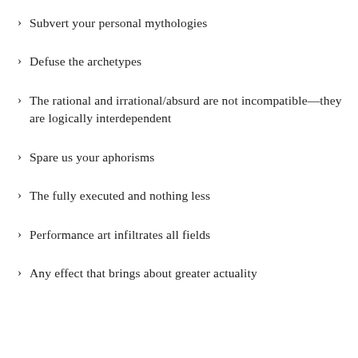Subvert your personal mythologies
Defuse the archetypes
The rational and irrational/absurd are not incompatible—they are logically interdependent
Spare us your aphorisms
The fully executed and nothing less
Performance art infiltrates all fields
Any effect that brings about greater actuality